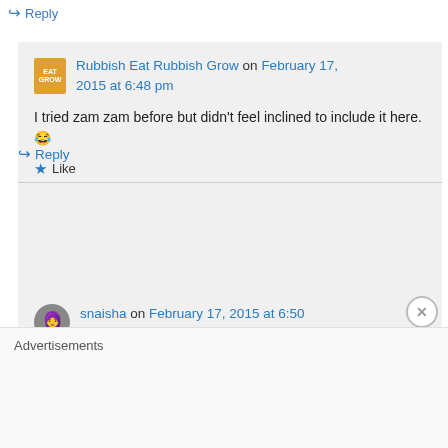↪ Reply
Rubbish Eat Rubbish Grow on February 17, 2015 at 6:48 pm
I tried zam zam before but didn't feel inclined to include it here. 😂
★ Like
↪ Reply
snaisha on February 17, 2015 at 6:50 pm
Advertisements